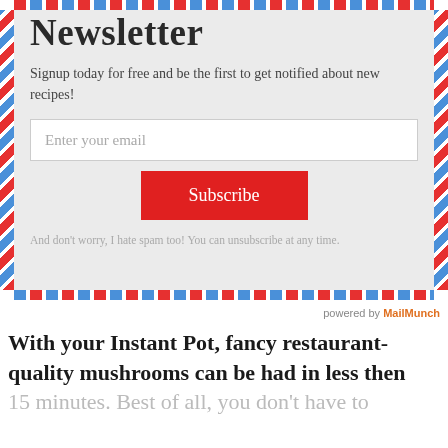Newsletter
Signup today for free and be the first to get notified about new recipes!
Enter your email
Subscribe
And don't worry, I hate spam too! You can unsubscribe at any time.
powered by MailMunch
With your Instant Pot, fancy restaurant-quality mushrooms can be had in less then 15 minutes.  Best of all, you don't have to